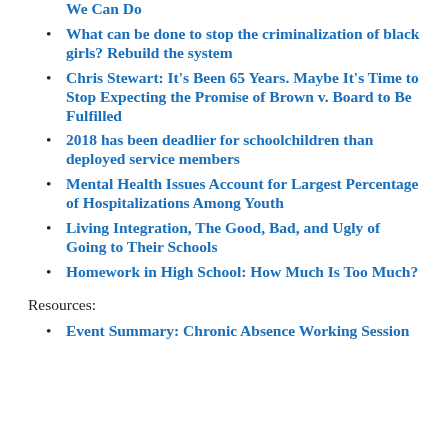We Can Do
What can be done to stop the criminalization of black girls? Rebuild the system
Chris Stewart: It's Been 65 Years. Maybe It's Time to Stop Expecting the Promise of Brown v. Board to Be Fulfilled
2018 has been deadlier for schoolchildren than deployed service members
Mental Health Issues Account for Largest Percentage of Hospitalizations Among Youth
Living Integration, The Good, Bad, and Ugly of Going to Their Schools
Homework in High School: How Much Is Too Much?
Resources:
Event Summary: Chronic Absence Working Session